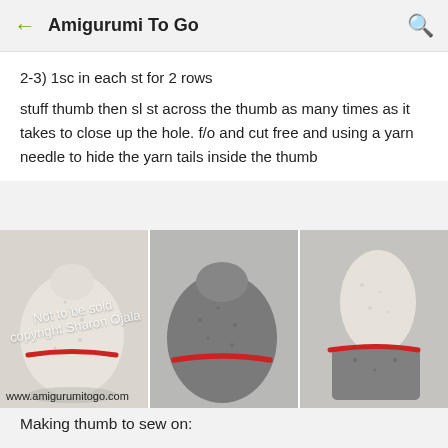← Amigurumi To Go 🔍
2-3) 1sc in each st for 2 rows
stuff thumb then sl st across the thumb as many times as it takes to close up the hole. f/o and cut free and using a yarn needle to hide the yarn tails inside the thumb
[Figure (photo): Three photos of crocheted mitten thumbs showing attachment with red yarn, viewed from different angles. Watermark reads: Not to be sold copyright Sharon Ojala. URL: www.amigurumitogo.com]
Making thumb to sew on: